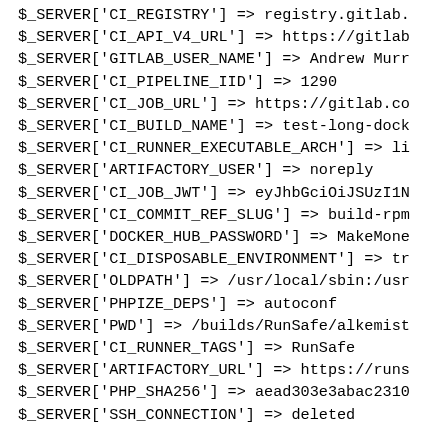$_SERVER['CI_REGISTRY'] => registry.gitlab.
$_SERVER['CI_API_V4_URL'] => https://gitlab
$_SERVER['GITLAB_USER_NAME'] => Andrew Murr
$_SERVER['CI_PIPELINE_IID'] => 1290
$_SERVER['CI_JOB_URL'] => https://gitlab.co
$_SERVER['CI_BUILD_NAME'] => test-long-dock
$_SERVER['CI_RUNNER_EXECUTABLE_ARCH'] => li
$_SERVER['ARTIFACTORY_USER'] => noreply
$_SERVER['CI_JOB_JWT'] => eyJhbGciOiJSUzI1N
$_SERVER['CI_COMMIT_REF_SLUG'] => build-rpm
$_SERVER['DOCKER_HUB_PASSWORD'] => MakeMone
$_SERVER['CI_DISPOSABLE_ENVIRONMENT'] => tr
$_SERVER['OLDPATH'] => /usr/local/sbin:/usr
$_SERVER['PHPIZE_DEPS'] => autoconf
$_SERVER['PWD'] => /builds/RunSafe/alkemist
$_SERVER['CI_RUNNER_TAGS'] => RunSafe
$_SERVER['ARTIFACTORY_URL'] => https://runs
$_SERVER['PHP_SHA256'] => aead303e3abac2310
$_SERVER['SSH_CONNECTION'] => deleted